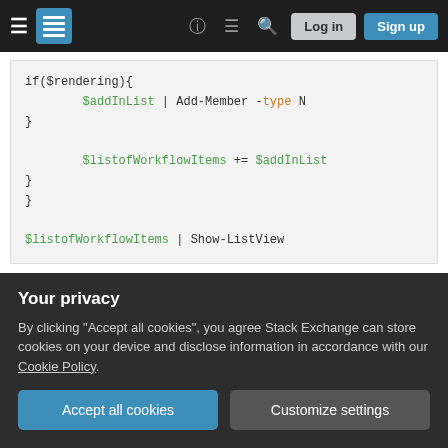Stack Exchange navigation bar with Log in and Sign up buttons
[Figure (screenshot): Code block showing PowerShell snippet with $addInList, $listofWorkflowItems, Add-Member, and Show-ListView commands]
But I am not getting through with if condition for Never publish property of item.
I have gone through with How to find out what's
Your privacy
By clicking "Accept all cookies", you agree Stack Exchange can store cookies on your device and disclose information in accordance with our Cookie Policy.
Accept all cookies   Customize settings
am getting items created in 2017 as well.